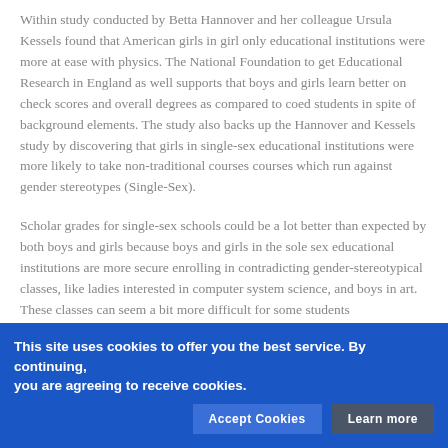Within study conducted by Betta Hannover and her colleague Ursula Kessels found that American girls in girl only educational institutions were more at ease with physics. The National Foundation to get Educational Research in England as well supports that boys and girls learn better on check scores and overall degrees as compared to coed students in spite of background elements. The study also backs up the Hannover and Kessels study by discovering that girls in single-sex educational institutions were more likely to take non-traditional courses courses which run against gender stereotypes (Single-Sex).
Scholar grades for single-sex schools could be a lot better than expected by both boys and girls because boys and girls in the sole sex educational institutions are more secure enrolling in contradicting gender-stereotypical classes, like ladies interested in computer system science, and boys in art. These classes can seem a bit more difficult for some students
This site uses cookies to offer you the best service. By continuing, you are agreeing to receive cookies.